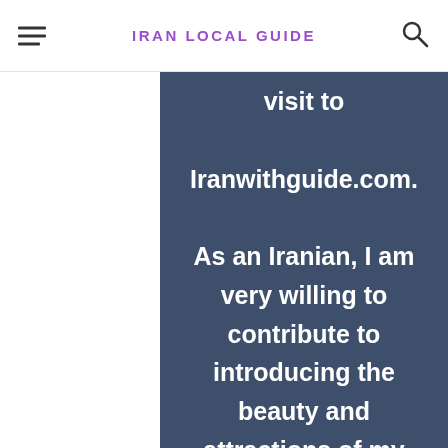IRAN LOCAL GUIDE
visit to Iranwithguide.com. As an Iranian, I am very willing to contribute to introducing the beauty and attractions of my country to the rest of the world. On the other hand, I enjoy creating